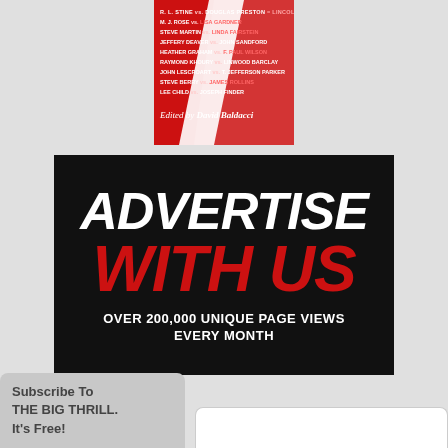[Figure (illustration): Book cover with red background listing author names: R.L. Stine vs. Douglas Preston + Lincoln Child, M.J. Rose vs. Lisa Gardner, Steve Martin vs. Linda Fairstein, Jeffery Deaver vs. John Sandford, Heather Graham vs. F. Paul Wilson, Raymond Khoury vs. Linwood Barclay, John Lescroart vs. T. Jefferson Parker, Steve Berry vs. James Rollins, Lee Child vs. Joseph Finder. Edited by David Baldacci.]
[Figure (infographic): Advertisement banner with black background. Large white bold italic text: ADVERTISE. Large red bold italic text: WITH US. White bold text below: OVER 200,000 UNIQUE PAGE VIEWS EVERY MONTH.]
Subscribe To THE BIG THRILL. It's Free!